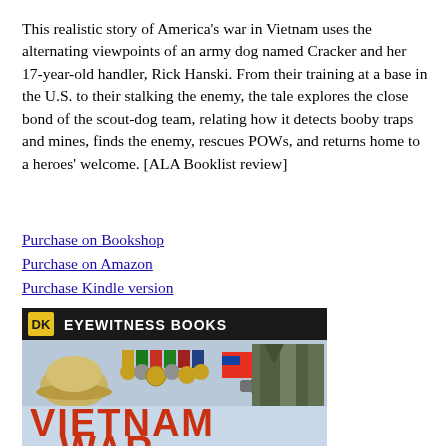This realistic story of America's war in Vietnam uses the alternating viewpoints of an army dog named Cracker and her 17-year-old handler, Rick Hanski. From their training at a base in the U.S. to their stalking the enemy, the tale explores the close bond of the scout-dog team, relating how it detects booby traps and mines, finds the enemy, rescues POWs, and returns home to a heroes' welcome. [ALA Booklist review]
Purchase on Bookshop
Purchase on Amazon
Purchase Kindle version
[Figure (photo): DK Eyewitness Books: Vietnam War book cover showing military medals, hat, grenade, camouflage uniform, and large red text reading VIETNAM WAR]